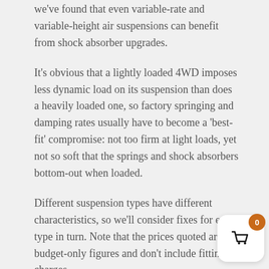we've found that even variable-rate and variable-height air suspensions can benefit from shock absorber upgrades.
It's obvious that a lightly loaded 4WD imposes less dynamic load on its suspension than does a heavily loaded one, so factory springing and damping rates usually have to become a 'best-fit' compromise: not too firm at light loads, yet not so soft that the springs and shock absorbers bottom-out when loaded.
Different suspension types have different characteristics, so we'll consider fixes for each type in turn. Note that the prices quoted are budget-only figures and don't include fitting charges.
[Figure (other): Shopping cart icon with orange badge showing 0 items]